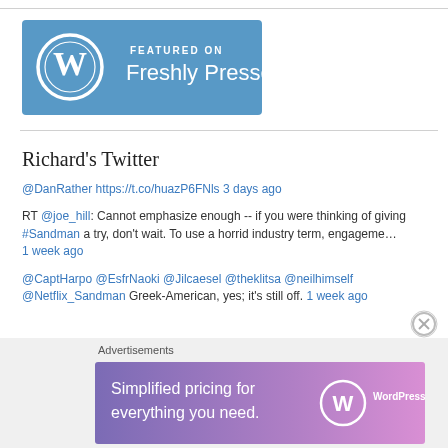[Figure (logo): WordPress 'Featured on Freshly Pressed' badge — teal/blue background with WordPress W logo and text 'FEATURED ON Freshly Pressed' in white]
Richard's Twitter
@DanRather https://t.co/huazP6FNls 3 days ago
RT @joe_hill: Cannot emphasize enough -- if you were thinking of giving #Sandman a try, don't wait. To use a horrid industry term, engageme… 1 week ago
@CaptHarpo @EsfrNaoki @Jilcaesel @theklitsa @neilhimself @Netflix_Sandman Greek-American, yes; it's still off. 1 week ago
[Figure (screenshot): WordPress.com advertisement banner: gradient purple-pink background with WordPress logo and text 'Simplified pricing for everything you need. WordPress.com']
Advertisements